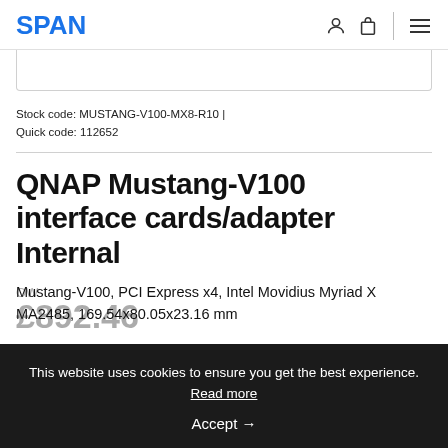SPAN
Stock code: MUSTANG-V100-MX8-R10 | Quick code: 112652
QNAP Mustang-V100 interface cards/adapter Internal
Mustang-V100, PCI Express x4, Intel Movidius Myriad X MA2485, 169.54x80.05x23.16 mm
This website uses cookies to ensure you get the best experience. Read more
Accept →